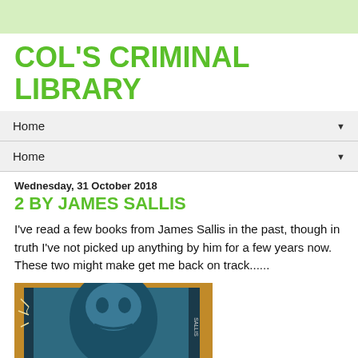COL'S CRIMINAL LIBRARY
Home
Home
Wednesday, 31 October 2018
2 BY JAMES SALLIS
I've read a few books from James Sallis in the past, though in truth I've not picked up anything by him for a few years now. These two might make get me back on track......
[Figure (photo): Photo of two James Sallis books on a wooden surface, with a teal/blue toned book cover visible]